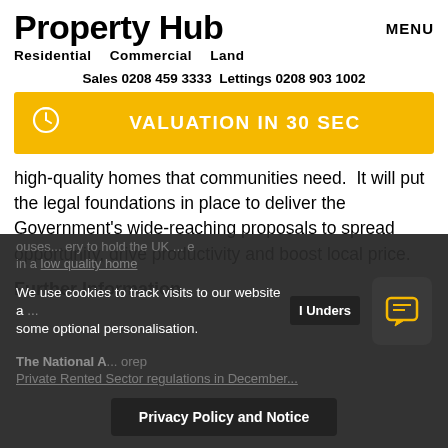Property Hub
Residential   Commercial   Land
MENU
Sales 0208 459 3333 Lettings 0208 903 1002
[Figure (infographic): Yellow button with stopwatch icon and text VALUATION IN 30 SEC]
high-quality homes that communities need.  It will put the legal foundations in place to deliver the Government's wide-reaching proposals to spread opportunity, drive productivity and boost local price.
Further Information
We use cookies to track visits to our website a... some optional personalisation.
The National A... Private Rented Sector regulations in December...